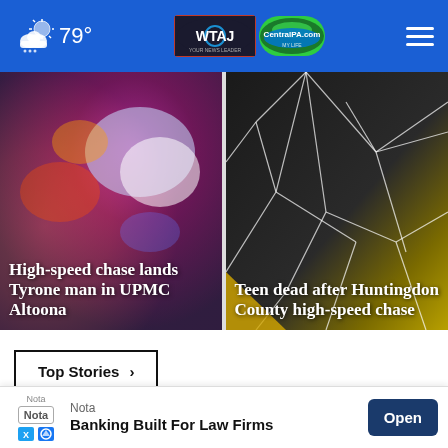79° WTAJ CentralPA.com
[Figure (photo): Left news card: blurred police lights in blue, red and purple tones with headline 'High-speed chase lands Tyrone man in UPMC Altoona']
High-speed chase lands Tyrone man in UPMC Altoona
[Figure (photo): Right news card: cracked broken glass texture with dark asphalt and yellow road marking, headline 'Teen dead after Huntingdon County high-speed chase']
Teen dead after Huntingdon County high-speed chase
Top Stories ›
[Figure (photo): Partial view of people in bottom strip area, partially obscured]
Banking Built For Law Firms
Nota
Banking Built For Law Firms
Open